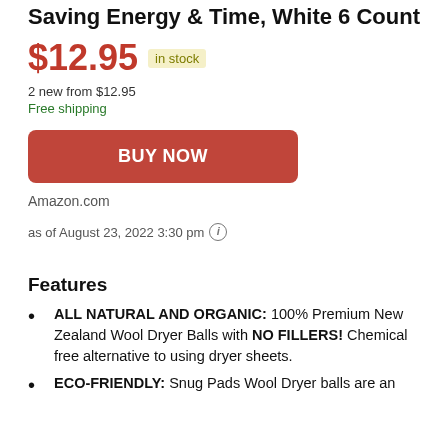Saving Energy & Time, White 6 Count
$12.95  in stock
2 new from $12.95
Free shipping
BUY NOW
Amazon.com
as of August 23, 2022 3:30 pm
Features
ALL NATURAL AND ORGANIC: 100% Premium New Zealand Wool Dryer Balls with NO FILLERS! Chemical free alternative to using dryer sheets.
ECO-FRIENDLY: Snug Pads Wool Dryer balls are an